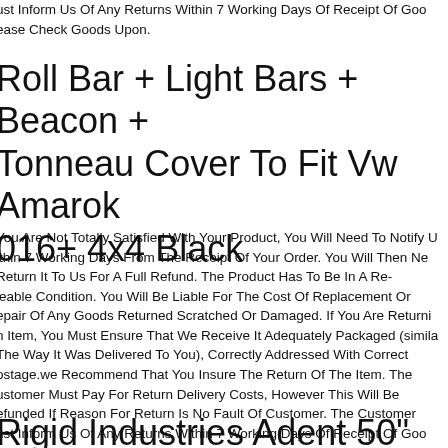ust Inform Us Of Any Returns Within 7 Working Days Of Receipt Of Goo ease Check Goods Upon.
Roll Bar + Light Bars + Beacon + Tonneau Cover To Fit Vw Amarok 016+ 4x4 Black
You Are Not Totally Satisfied With Your Product, You Will Need To Notify U ithin 7 Working Days From The Receipt Of Your Order. You Will Then Ne Return It To Us For A Full Refund. The Product Has To Be In A Re-leable Condition. You Will Be Liable For The Cost Of Replacement Or epair Of Any Goods Returned Scratched Or Damaged. If You Are Returni n Item, You Must Ensure That We Receive It Adequately Packaged (simila The Way It Was Delivered To You), Correctly Addressed With Correct ostage.we Recommend That You Insure The Return Of The Item. The ustomer Must Pay For Return Delivery Costs, However This Will Be efunded If Reason For Return Is No Fault Of Customer. The Customer ust Inform Us Of Any Returns Within 7 Working Days Of Receipt Of Goo ease Check Goods Upon.
Rigid Industries Adent 50" Light B